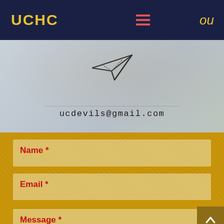UCHC
[Figure (illustration): Paper plane icon with email address ucdevils@gmail.com below it, on a light grey background with faint background photo]
ucdevils@gmail.com
Name *
Email *
Subject
Message *